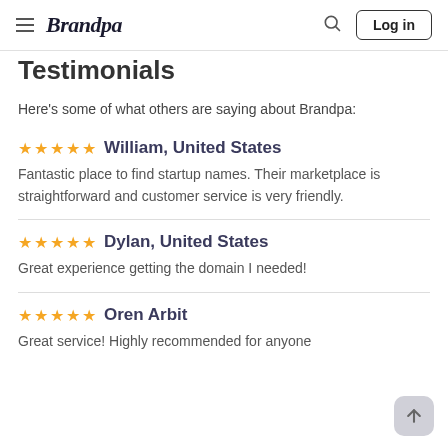Brandpa — Log in
Testimonials
Here's some of what others are saying about Brandpa:
★★★★★ William, United States
Fantastic place to find startup names. Their marketplace is straightforward and customer service is very friendly.
★★★★★ Dylan, United States
Great experience getting the domain I needed!
★★★★★ Oren Arbit
Great service! Highly recommended for anyone...